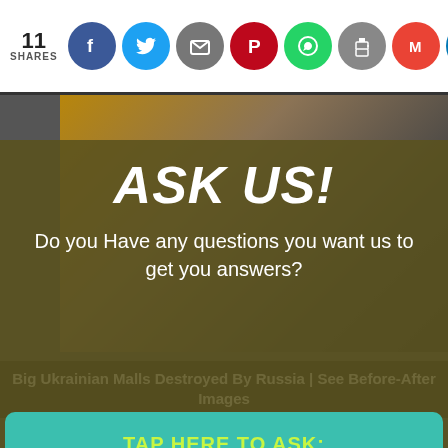11 SHARES
[Figure (screenshot): Social media share bar with icons: Facebook (blue), Twitter (blue), Email (gray), Pinterest (red), WhatsApp (green), Print (gray), Gmail (red), LinkedIn (blue), Google (blue)]
[Figure (photo): Background photo of a crowd/mall scene with overlay showing ASK US! modal dialog with teal button]
ASK US!
Do you Have any questions you want us to get you answers?
TAP HERE TO ASK:
Big Ukrainian Malls Destroyed By Russia | See Before-After Images
No Thanks!
[Figure (photo): Dark photo of a woman with light-colored hair, looking down, in a dimly lit setting]